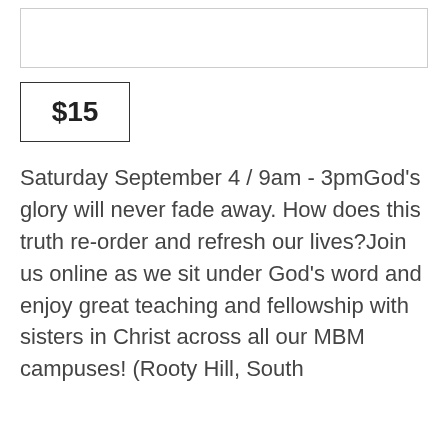[Figure (other): Empty rectangular box at the top of the page, likely an image placeholder]
$15
Saturday September 4 / 9am - 3pmGod's glory will never fade away. How does this truth re-order and refresh our lives?Join us online as we sit under God's word and enjoy great teaching and fellowship with sisters in Christ across all our MBM campuses! (Rooty Hill, South